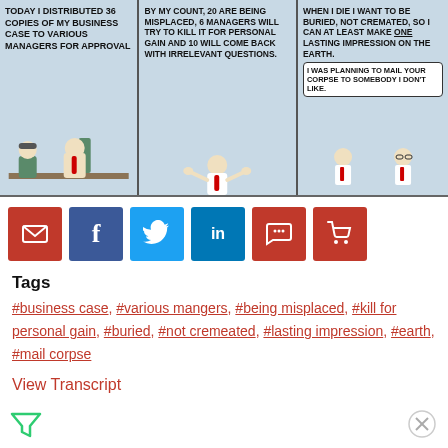[Figure (illustration): Dilbert comic strip with three panels. Panel 1: character says 'TODAY I DISTRIBUTED 36 COPIES OF MY BUSINESS CASE TO VARIOUS MANAGERS FOR APPROVAL'. Panel 2: character responds 'BY MY COUNT, 20 ARE BEING MISPLACED, 6 MANAGERS WILL TRY TO KILL IT FOR PERSONAL GAIN AND 10 WILL COME BACK WITH IRRELEVANT QUESTIONS.' Panel 3: character says 'WHEN I DIE I WANT TO BE BURIED, NOT CREMATED, SO I CAN AT LEAST MAKE ONE LASTING IMPRESSION ON THE EARTH.' Other character replies 'I WAS PLANNING TO MAIL YOUR CORPSE TO SOMEBODY I DON'T LIKE.']
[Figure (infographic): Row of six social sharing buttons: email (red), Facebook (dark blue), Twitter (light blue), LinkedIn (blue), comment/chat (red), shopping cart (red)]
Tags
#business case, #various mangers, #being misplaced, #kill for personal gain, #buried, #not cremeated, #lasting impression, #earth, #mail corpse
View Transcript
[Figure (screenshot): Advertisement banner: Disney Bundle promotion showing Hulu, Disney+, ESPN+ logos with 'GET THE DISNEY BUNDLE' call to action]
Report an ad